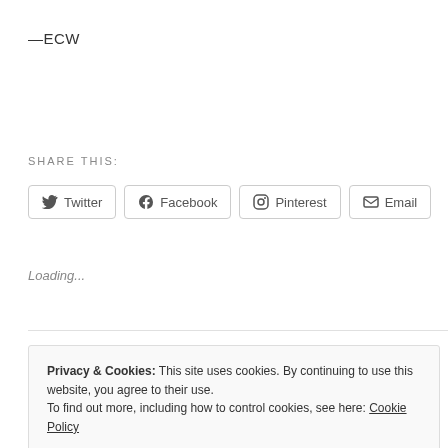—ECW
SHARE THIS:
Twitter  Facebook  Pinterest  Email
Loading...
Privacy & Cookies: This site uses cookies. By continuing to use this website, you agree to their use.
To find out more, including how to control cookies, see here: Cookie Policy
Close and accept